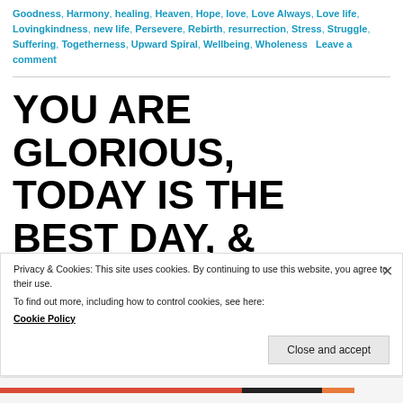Goodness, Harmony, healing, Heaven, Hope, love, Love Always, Love life, Lovingkindness, new life, Persevere, Rebirth, resurrection, Stress, Struggle, Suffering, Togetherness, Upward Spiral, Wellbeing, Wholeness   Leave a comment
YOU ARE GLORIOUS, TODAY IS THE BEST DAY, & YOU ARE LOVED: LIFE
Privacy & Cookies: This site uses cookies. By continuing to use this website, you agree to their use.
To find out more, including how to control cookies, see here:
Cookie Policy
Close and accept